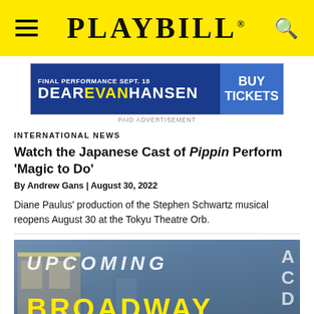PLAYBILL
[Figure (other): Advertisement banner for Dear Evan Hansen final performance Sept. 18 with Buy Tickets button]
PAID ADVERTISEMENT
INTERNATIONAL NEWS
Watch the Japanese Cast of Pippin Perform 'Magic to Do'
By Andrew Gans | August 30, 2022
Diane Paulus' production of the Stephen Schwartz musical reopens August 30 at the Tokyu Theatre Orb.
[Figure (photo): Broadway theater district photo with 'UPCOMING BROADWAY' text overlay in white and yellow]